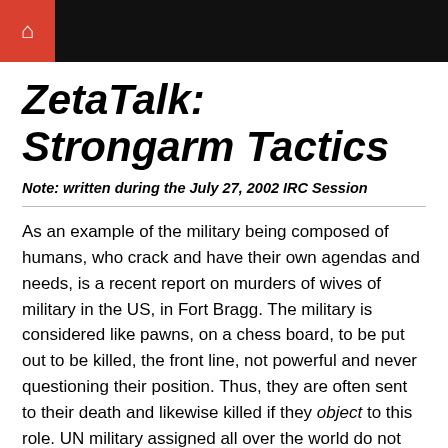🏠
ZetaTalk: Strongarm Tactics
Note: written during the July 27, 2002 IRC Session
As an example of the military being composed of humans, who crack and have their own agendas and needs, is a recent report on murders of wives of military in the US, in Fort Bragg. The military is considered like pawns, on a chess board, to be put out to be killed, the front line, not powerful and never questioning their position. Thus, they are often sent to their death and likewise killed if they object to this role. UN military assigned all over the world do not often perform well